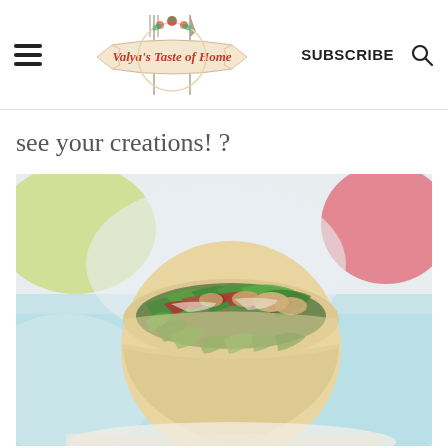Valya's Taste of Home | SUBSCRIBE
see your creations! ?
[Figure (photo): Close-up photo of a wrap/burrito cut open and held up, filled with green lettuce, bacon pieces, chicken, and other salad ingredients, with a blurred colorful background showing yellow-green, white, blue, and red tones.]